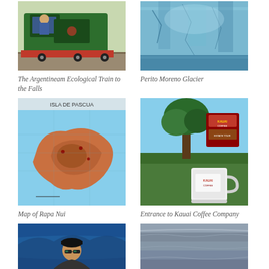[Figure (photo): Green train with a person leaning out the window, red base, on tracks with gravel]
The Argentineam Ecological Train to the Falls
[Figure (photo): Perito Moreno Glacier, blue-white ice face above water]
Perito Moreno Glacier
[Figure (map): Map of Rapa Nui (Isla de Pascua), showing topographic terrain in reddish-brown tones on blue sea background]
Map of Rapa Nui
[Figure (photo): Entrance to Kauai Coffee Company, with a large white mug in foreground and sign and trees in background]
Entrance to Kauai Coffee Company
[Figure (photo): Person wearing a black cap and sunglasses in front of blue water]
[Figure (photo): Calm grey-blue water surface, coastal scene]